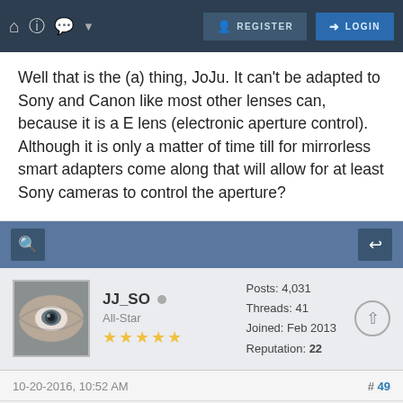REGISTER  LOGIN
Well that is the (a) thing, JoJu. It can't be adapted to Sony and Canon like most other lenses can, because it is a E lens (electronic aperture control). Although it is only a matter of time till for mirrorless smart adapters come along that will allow for at least Sony cameras to control the aperture?
JJ_SO  All-Star  Posts: 4,031  Threads: 41  Joined: Feb 2013  Reputation: 22
10-20-2016, 10:52 AM  #49